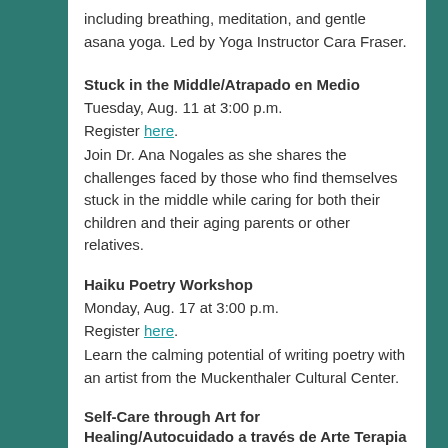including breathing, meditation, and gentle asana yoga. Led by Yoga Instructor Cara Fraser.
Stuck in the Middle/Atrapado en Medio
Tuesday, Aug. 11 at 3:00 p.m.
Register here.
Join Dr. Ana Nogales as she shares the challenges faced by those who find themselves stuck in the middle while caring for both their children and their aging parents or other relatives.
Haiku Poetry Workshop
Monday, Aug. 17 at 3:00 p.m.
Register here.
Learn the calming potential of writing poetry with an artist from the Muckenthaler Cultural Center.
Self-Care through Art for Healing/Autocuidado a través de Arte Terapia
Tuesday, Aug. 18 at 3:00 p.m.
Register here.
Balancing the responsibilities of caring for others